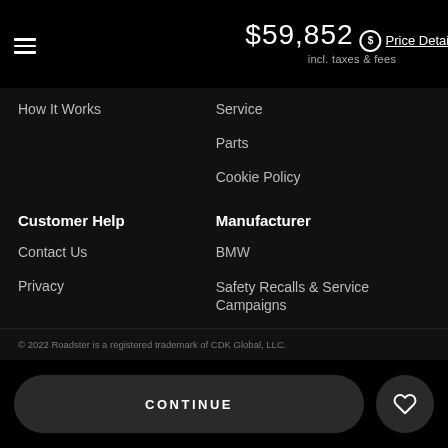$59,852 Price Details incl. taxes & fees
How It Works
Service
Parts
Cookie Policy
Customer Help
Contact Us
Privacy
Manufacturer
BMW
Safety Recalls & Service Campaigns
Language
English
© 2022 Roadster is a registered trademark of CDK Global, LLC.
CONTINUE